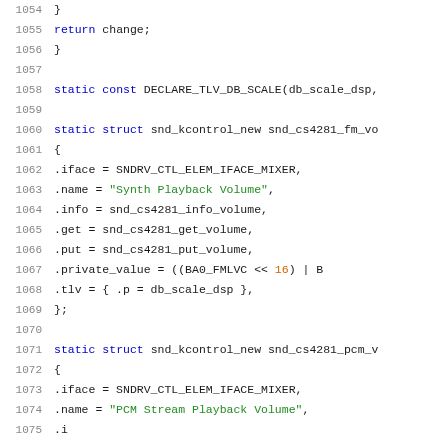Source code listing, lines 1054-1075, C programming language kernel audio driver code